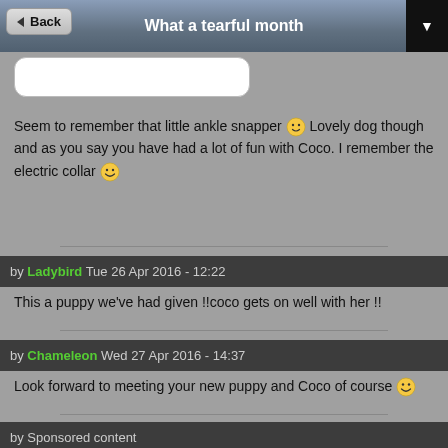Back | What a tearful month
[Figure (other): Input text box (rounded rectangle, white background)]
Seem to remember that little ankle snapper 🙂 Lovely dog though and as you say you have had a lot of fun with Coco. I remember the electric collar 😀
by Ladybird Tue 26 Apr 2016 - 12:22
This a puppy we've had given !!coco gets on well with her !!
by Chameleon Wed 27 Apr 2016 - 14:37
Look forward to meeting your new puppy and Coco of course 😁
by Sponsored content